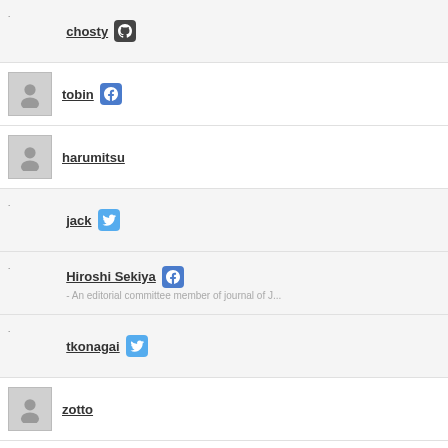chosty [GitHub icon]
tobin [Facebook icon]
harumitsu
jack [Twitter icon]
Hiroshi Sekiya [Facebook icon] - An editorial committee member of journal of J...
tkonagai [Twitter icon]
zotto
n_u_paretto